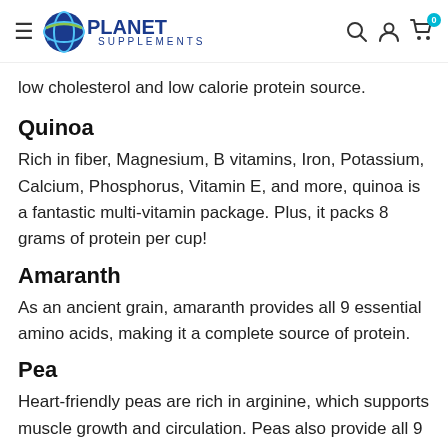Planet Supplements — navigation header
low cholesterol and low calorie protein source.
Quinoa
Rich in fiber, Magnesium, B vitamins, Iron, Potassium, Calcium, Phosphorus, Vitamin E, and more, quinoa is a fantastic multi-vitamin package. Plus, it packs 8 grams of protein per cup!
Amaranth
As an ancient grain, amaranth provides all 9 essential amino acids, making it a complete source of protein.
Pea
Heart-friendly peas are rich in arginine, which supports muscle growth and circulation. Peas also provide all 9